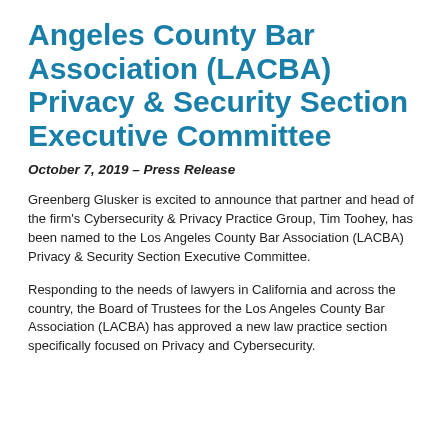Angeles County Bar Association (LACBA) Privacy & Security Section Executive Committee
October 7, 2019 – Press Release
Greenberg Glusker is excited to announce that partner and head of the firm's Cybersecurity & Privacy Practice Group, Tim Toohey, has been named to the Los Angeles County Bar Association (LACBA) Privacy & Security Section Executive Committee.
Responding to the needs of lawyers in California and across the country, the Board of Trustees for the Los Angeles County Bar Association (LACBA) has approved a new law practice section specifically focused on Privacy and Cybersecurity.